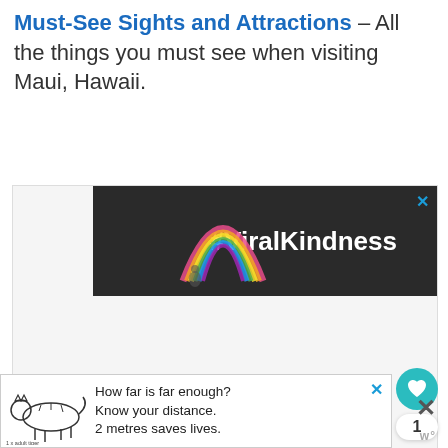Must-See Sights and Attractions – All the things you must see when visiting Maui, Hawaii.
[Figure (infographic): Advertisement banner showing a chalk-drawn rainbow on dark asphalt background with text '#ViralKindness' in white bold letters, with a blue X close button in the top-right corner.]
[Figure (infographic): Bottom advertisement banner showing a tiger outline illustration with text 'How far is far enough? Know your distance. 2 metres saves lives.' and '1 x adult tiger' label, with blue X close button.]